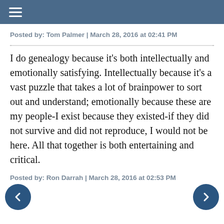≡
Posted by: Tom Palmer | March 28, 2016 at 02:41 PM
I do genealogy because it's both intellectually and emotionally satisfying. Intellectually because it's a vast puzzle that takes a lot of brainpower to sort out and understand; emotionally because these are my people-I exist because they existed-if they did not survive and did not reproduce, I would not be here. All that together is both entertaining and critical.
Posted by: Ron Darrah | March 28, 2016 at 02:53 PM